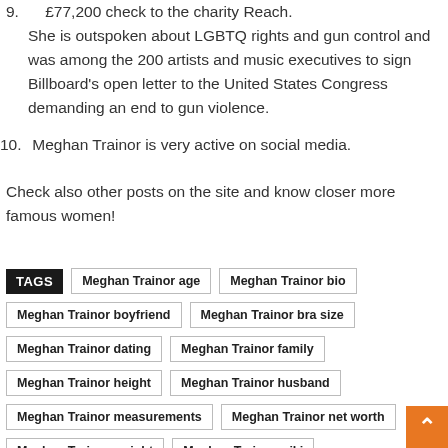9. She is outspoken about LGBTQ rights and gun control and was among the 200 artists and music executives to sign Billboard's open letter to the United States Congress demanding an end to gun violence.
10. Meghan Trainor is very active on social media.
Check also other posts on the site and know closer more famous women!
TAGS  Meghan Trainor age  Meghan Trainor bio  Meghan Trainor boyfriend  Meghan Trainor bra size  Meghan Trainor dating  Meghan Trainor family  Meghan Trainor height  Meghan Trainor husband  Meghan Trainor measurements  Meghan Trainor net worth  Meghan Trainor weight  Meghan Trainor wiki  Meghan Trainor wikipedia